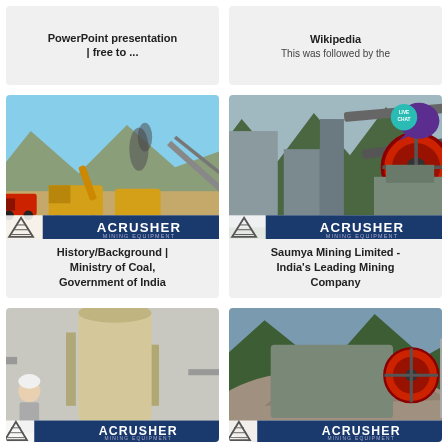PowerPoint presentation | free to ...
Wikipedia
This was followed by the
[Figure (photo): Mining site with heavy machinery, trucks and loaders at an open pit mine. ACRUSHER Mining Equipment logo overlay.]
History/Background | Ministry of Coal, Government of India
[Figure (photo): Industrial mining crusher equipment with large red flywheel. ACRUSHER Mining Equipment logo overlay. Live chat bubble in top right corner.]
Saumya Mining Limited - India's Leading Mining Company
[Figure (photo): Industrial facility interior with large cylindrical tank and worker standing nearby. ACRUSHER Mining Equipment logo overlay at bottom.]
[Figure (photo): Outdoor mining crusher/screening equipment on a hillside with trees. ACRUSHER Mining Equipment logo overlay at bottom.]